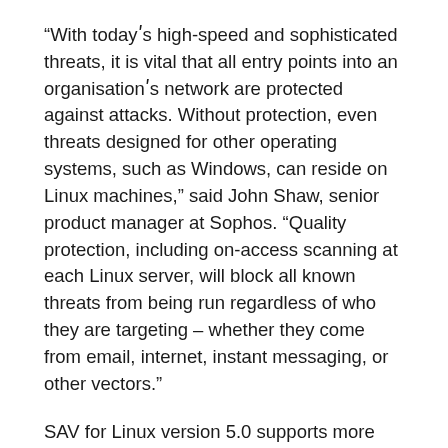“With todayʹs high-speed and sophisticated threats, it is vital that all entry points into an organisationʹs network are protected against attacks. Without protection, even threats designed for other operating systems, such as Windows, can reside on Linux machines,” said John Shaw, senior product manager at Sophos. “Quality protection, including on-access scanning at each Linux server, will block all known threats from being run regardless of who they are targeting – whether they come from email, internet, instant messaging, or other vectors.”
SAV for Linux version 5.0 supports more than 20 distributions of Linux, including the main versions of RedHat, Suse and TurboLinux. With low CPU overheads, the software operates seamlessly in the self-contained Linux network environment and installs on both servers and workstations. Extensive file, directory, filetype and drive exclusion options ensure that administrators have complete control over only what needs to be scanned, to